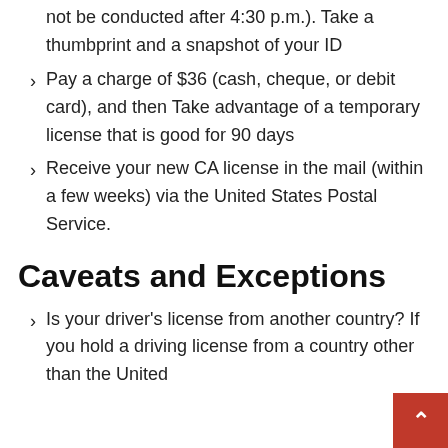not be conducted after 4:30 p.m.). Take a thumbprint and a snapshot of your ID
Pay a charge of $36 (cash, cheque, or debit card), and then Take advantage of a temporary license that is good for 90 days
Receive your new CA license in the mail (within a few weeks) via the United States Postal Service.
Caveats and Exceptions
Is your driver's license from another country? If you hold a driving license from a country other than the United